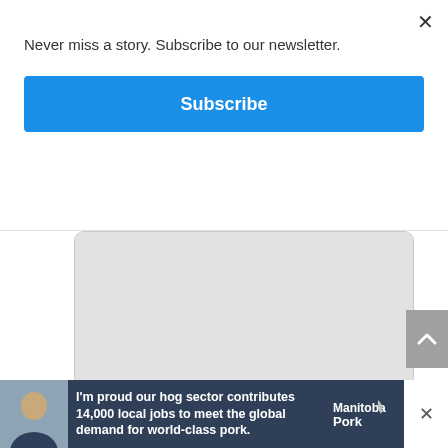Never miss a story. Subscribe to our newsletter.
Subscribe
ChrisD.ca @ChrisDca · 3h
Three Dead in Three Separate Crashes, Say Manitoba RCMP chrisd.ca/2022/09/02/thr…
[Figure (screenshot): Embedded tweet image placeholder (blank/grey area)]
chrisd.ca
Three Dead in Three Separate Crashes
I'm proud our hog sector contributes 14,000 local jobs to meet the global demand for world-class pork.